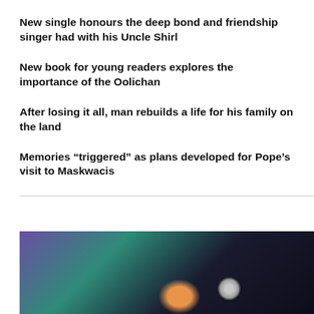New single honours the deep bond and friendship singer had with his Uncle Shirl
New book for young readers explores the importance of the Oolichan
After losing it all, man rebuilds a life for his family on the land
Memories “triggered” as plans developed for Pope’s visit to Maskwacis
[Figure (photo): Dark background photo showing a person, with purple and teal lighting on the left side and a partially visible face or figure at the bottom center, with a small round object visible at lower right]